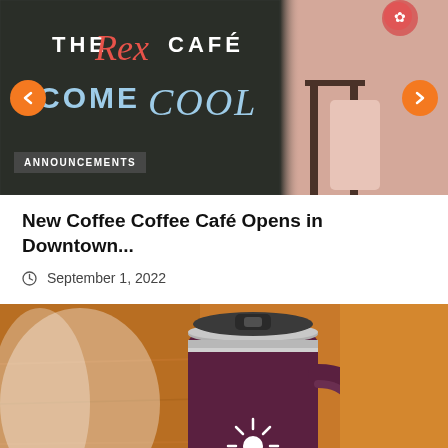[Figure (photo): Carousel image showing 'The Rex Café Come Cool' chalkboard sign and a person seated at a table. Navigation arrows on left and right, orange circular buttons. ANNOUNCEMENTS badge overlay at bottom left.]
New Coffee Coffee Café Opens in Downtown...
September 1, 2022
[Figure (photo): Close-up photo of a dark purple/maroon Hydro Flask travel mug with a handle and lid, on a warm orange/wood background.]